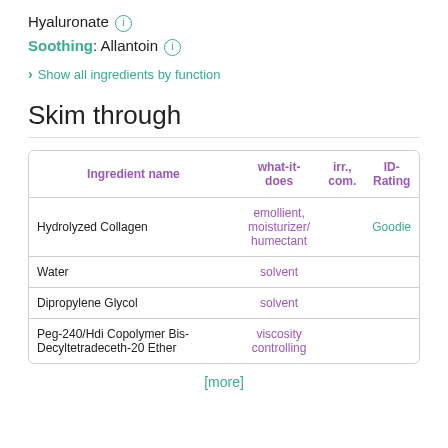Hyaluronate ℹ Soothing: Allantoin ℹ
Show all ingredients by function
Skim through
| Ingredient name | what-it-does | irr., com. | ID-Rating |
| --- | --- | --- | --- |
| Hydrolyzed Collagen | emollient, moisturizer/ humectant |  | Goodie |
| Water | solvent |  |  |
| Dipropylene Glycol | solvent |  |  |
| Peg-240/Hdi Copolymer Bis-Decyltetradeceth-20 Ether | viscosity controlling |  |  |
[more]